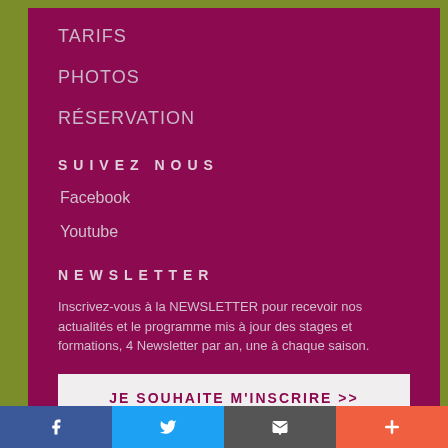TARIFS
PHOTOS
RÉSERVATION
SUIVEZ NOUS
Facebook
Youtube
NEWSLETTER
Inscrivez-vous à la NEWSLETTER pour recevoir nos actualités et le programme mis à jour des stages et formations, 4 Newsletter par an, une à chaque saison.
JE SOUHAITE M'INSCRIRE >>
Si vous êtes déjà inscrit(e) et ne souhaitez plus recevoir notre Newsletter desinscrivez-vous ici.
f  [Twitter icon]  [email icon]  +